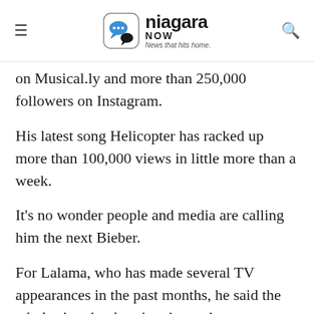niagara NOW — News that hits home.
on Musical.ly and more than 250,000 followers on Instagram.
His latest song Helicopter has racked up more than 100,000 views in little more than a week.
It's no wonder people and media are calling him the next Bieber.
For Lalama, who has made several TV appearances in the past months, he said the whole situation hasn't quite set in yet.
“I always just find it crazy the fact that I have this many supporters. I still haven’t fully understood it yet, but at the same time it feels